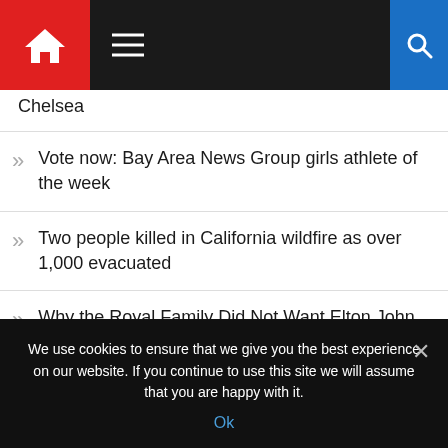Navigation bar with home, menu, and search
Chelsea
Vote now: Bay Area News Group girls athlete of the week
Two people killed in California wildfire as over 1,000 evacuated
Why the Royal Family Did Not Want Elton John to Sing ‘Candle in the Wind’ at Princess Diana’s Funeral
Teenager killed in ‘mass armed brawl’ named while second boy fights for life
We use cookies to ensure that we give you the best experience on our website. If you continue to use this site we will assume that you are happy with it.
Ok